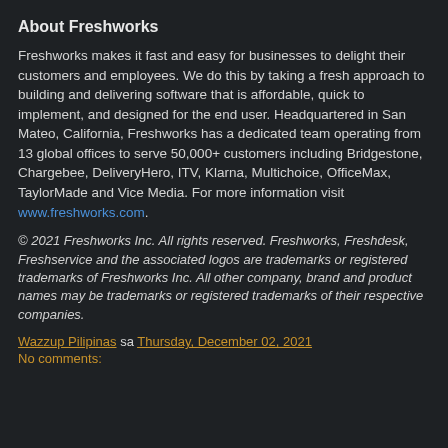About Freshworks
Freshworks makes it fast and easy for businesses to delight their customers and employees. We do this by taking a fresh approach to building and delivering software that is affordable, quick to implement, and designed for the end user. Headquartered in San Mateo, California, Freshworks has a dedicated team operating from 13 global offices to serve 50,000+ customers including Bridgestone, Chargebee, DeliveryHero, ITV, Klarna, Multichoice, OfficeMax, TaylorMade and Vice Media. For more information visit www.freshworks.com.
© 2021 Freshworks Inc. All rights reserved. Freshworks, Freshdesk, Freshservice and the associated logos are trademarks or registered trademarks of Freshworks Inc. All other company, brand and product names may be trademarks or registered trademarks of their respective companies.
Wazzup Pilipinas sa Thursday, December 02, 2021
No comments: